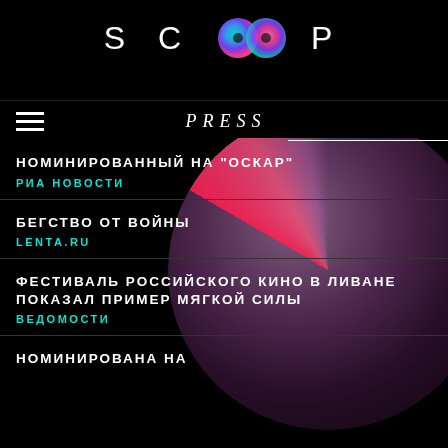SCOOP
PRESS
[Figure (illustration): Decorative large circle with purple/magenta gradient and a pink/red conic slice at the bottom right, partially transparent overlay on the news list]
НОМИНИРОВАННЫЙ НА "ОСКАР"
РИА НОВОСТИ
БЕГСТВО ОТ ВОЙНЫ
LENTA.RU
ФЕСТИВАЛЬ РОССИЙСКОГО КИНО В ЛИВАНЕ ПОКАЗАЛ ПРИМЕР МЯГКОЙ СИЛЫ
ВЕДОМОСТИ
НОМИНИРОВАНА НА / НОМИНИРОВАННА НА (partial, clipped at bottom)